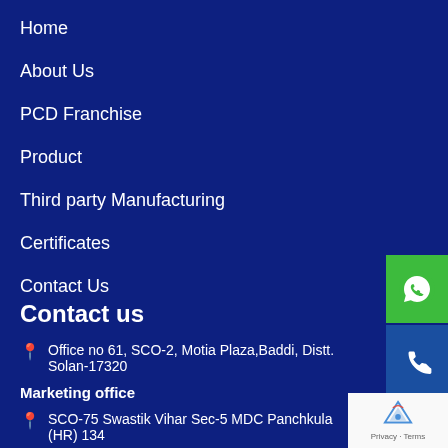Home
About Us
PCD Franchise
Product
Third party Manufacturing
Certificates
Contact Us
Contact us
Office no 61, SCO-2, Motia Plaza,Baddi, Distt. Solan-17320
Marketing office
SCO-75 Swastik Vihar Sec-5 MDC Panchkula (HR) 134...
7807329006